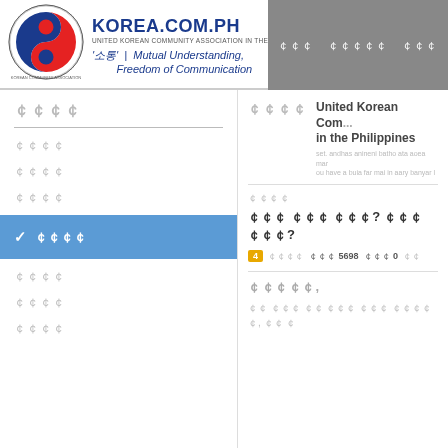[Figure (logo): United Korean Community Association in the Philippines circular logo with Taeguk symbol]
KOREA.COM.PH
UNITED KOREAN COMMUNITY ASSOCIATION IN THE PHILIPPINES
'소통' | Mutual Understanding, Freedom of Communication
Navigation bar with Korean menu items
[Korean text - left section title]
[Korean menu item 1]
[Korean menu item 2]
[Korean menu item 3]
[Korean menu item - active/selected]
[Korean menu item 4]
[Korean menu item 5]
[Korean menu item 6]
[Korean text - right section title]
United Korean Community Association in the Philippines
Description text about the association
[Korean label]
[Korean post title with question marks]
4 [Korean] 5698 [Korean] 0
[Korean username],
[Korean comment text]